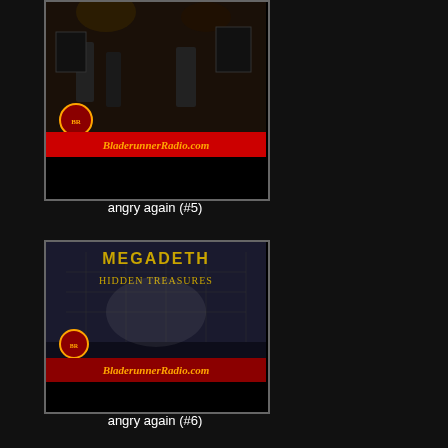[Figure (photo): Concert photo with BladerunnerRadio.com branding overlay and red banner at bottom - angry again (#5)]
angry again (#5)
[Figure (photo): Megadeth Hidden Treasures album cover with BladerunnerRadio.com branding overlay - angry again (#6)]
angry again (#6)
[Figure (photo): Concert photo at Mesa Amphitheater, Mesa, AZ, 11th June 1997 with BladerunnerRadio.com branding - angry again (#7)]
angry again (#7)